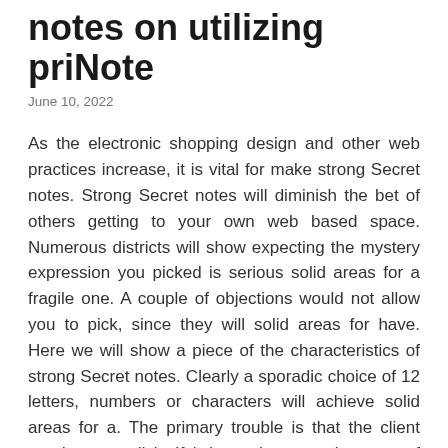notes on utilizing priNote
June 10, 2022
As the electronic shopping design and other web practices increase, it is vital for make strong Secret notes. Strong Secret notes will diminish the bet of others getting to your own web based space. Numerous districts will show expecting the mystery expression you picked is serious solid areas for a fragile one. A couple of objections would not allow you to pick, since they will solid areas for have. Here we will show a piece of the characteristics of strong Secret notes. Clearly a sporadic choice of 12 letters, numbers or characters will achieve solid areas for a. The primary trouble is that the client needs to recall it. If it is made on a piece out of paper, some security ought to be associated with it.